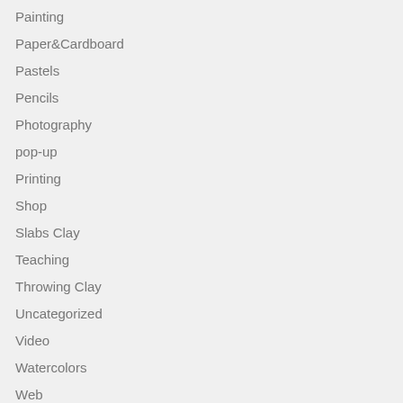Painting
Paper&Cardboard
Pastels
Pencils
Photography
pop-up
Printing
Shop
Slabs Clay
Teaching
Throwing Clay
Uncategorized
Video
Watercolors
Web